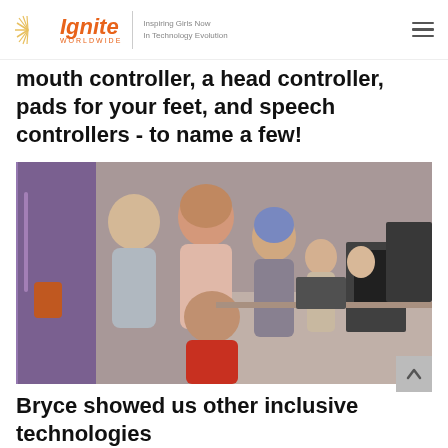Ignite Worldwide — Inspiring Girls Now In Technology Evolution
mouth controller, a head controller, pads for your feet, and speech controllers - to name a few!
[Figure (photo): Group of diverse girls gathered around a computer, apparently at a technology event. One girl in a hijab is smiling at the camera along with other students.]
Bryce showed us other inclusive technologies the next...